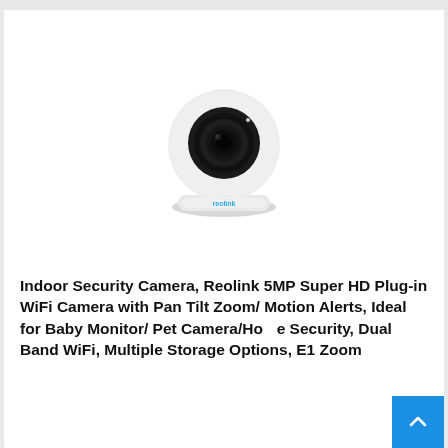[Figure (photo): White Reolink indoor security camera with pan-tilt design, round white body with large black lens on top and flat base with 'reolink' text in blue]
Indoor Security Camera, Reolink 5MP Super HD Plug-in WiFi Camera with Pan Tilt Zoom/ Motion Alerts, Ideal for Baby Monitor/ Pet Camera/Home Security, Dual Band WiFi, Multiple Storage Options, E1 Zoom